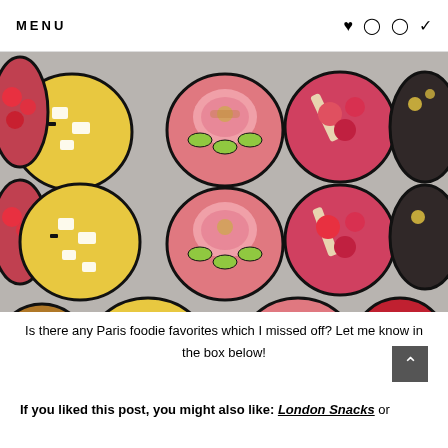MENU ♥ ⊙ ⊕ ✓
[Figure (photo): Overhead view of multiple colorful pastry/dessert cups arranged in rows on a display surface. The pastries include yellow tarts, pink macarons/mousses with fruits, red/strawberry topped cups, and dark chocolate cups, each in a small black frying-pan-shaped holder.]
Is there any Paris foodie favorites which I missed off? Let me know in the box below!
If you liked this post, you might also like: London Snacks or